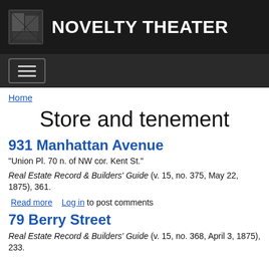NOVELTY THEATER
Store and tenement
931 Manhattan Avenue
"Union Pl. 70 n. of NW cor. Kent St."
Real Estate Record & Builders' Guide (v. 15, no. 375, May 22, 1875), 361.
Read more  Log in to post comments
79 Berry Street
Real Estate Record & Builders' Guide (v. 15, no. 368, April 3, 1875), 233.